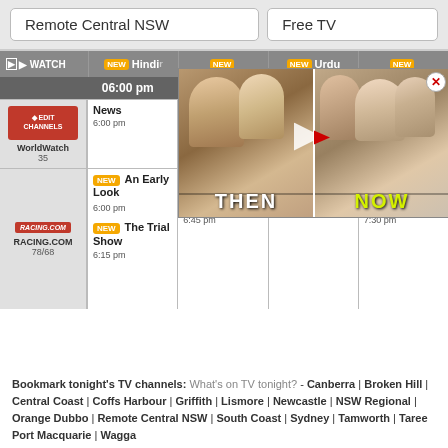Remote Central NSW | Free TV
| Channel | 6:00 pm | 6:30 pm | 7:00 pm | 7:30 pm |
| --- | --- | --- | --- | --- |
| WorldWatch 35 | News 6:00 pm | Hungarian News 6:30 pm | News 7:00 pm | Korean News 7:30 pm |
| RACING.COM 78/68 | NEW An Early Look 6:00 pm | NEW The Trial Show 6:15 pm | NEW The Wrap - Group 1 Glory 6:45 pm | NEW An Early Look 7:15 pm | NEW Raceday Review - The Valley 7:30 pm |
[Figure (screenshot): TV show promo thumbnail showing THEN and NOW cast comparison with play button]
Bookmark tonight's TV channels: What's on TV tonight? - Canberra | Broken Hill | Central Coast | Coffs Harbour | Griffith | Lismore | Newcastle | NSW Regional | Orange Dubbo | Remote Central NSW | South Coast | Sydney | Tamworth | Taree Port Macquarie | Wagga